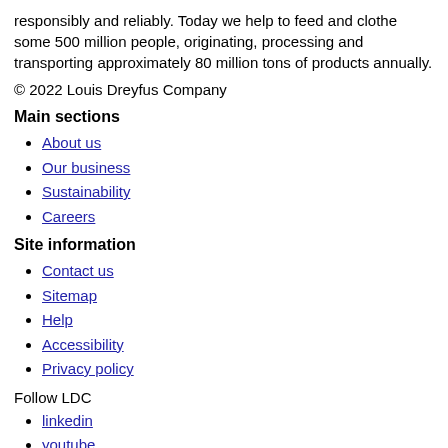responsibly and reliably. Today we help to feed and clothe some 500 million people, originating, processing and transporting approximately 80 million tons of products annually.
© 2022 Louis Dreyfus Company
Main sections
About us
Our business
Sustainability
Careers
Site information
Contact us
Sitemap
Help
Accessibility
Privacy policy
Follow LDC
linkedin
youtube
twitter